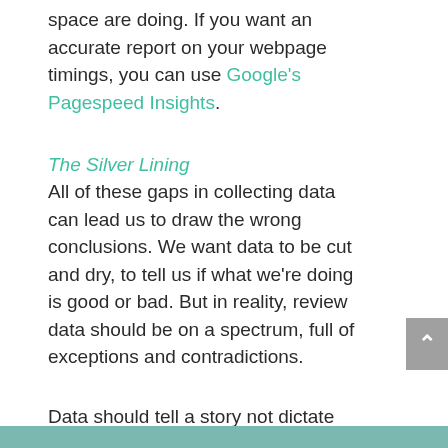space are doing. If you want an accurate report on your webpage timings, you can use Google's Pagespeed Insights.
The Silver Lining
All of these gaps in collecting data can lead us to draw the wrong conclusions. We want data to be cut and dry, to tell us if what we're doing is good or bad. But in reality, review data should be on a spectrum, full of exceptions and contradictions.
Data should tell a story not dictate